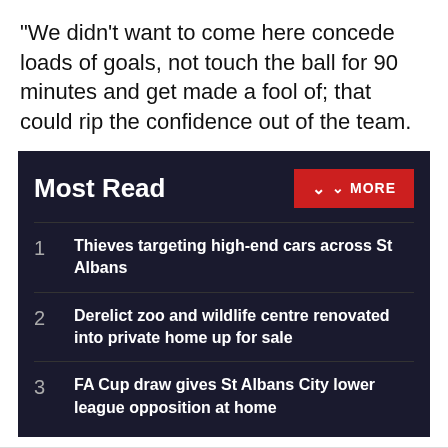“We didn’t want to come here concede loads of goals, not touch the ball for 90 minutes and get made a fool of; that could rip the confidence out of the team.
Most Read
1 Thieves targeting high-end cars across St Albans
2 Derelict zoo and wildlife centre renovated into private home up for sale
3 FA Cup draw gives St Albans City lower league opposition at home
By clicking “Accept All Cookies”, you agree to the storing of cookies on your device to enhance site navigation, analyze site usage, and assist in our marketing efforts.